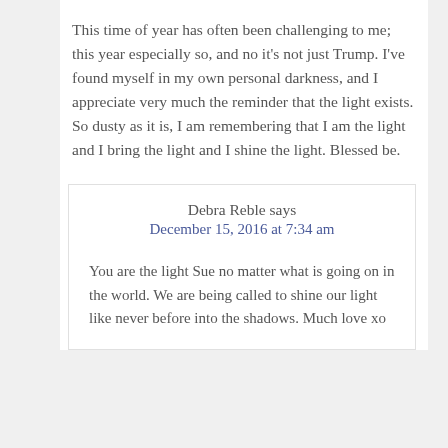This time of year has often been challenging to me; this year especially so, and no it's not just Trump. I've found myself in my own personal darkness, and I appreciate very much the reminder that the light exists. So dusty as it is, I am remembering that I am the light and I bring the light and I shine the light. Blessed be.
Debra Reble says
December 15, 2016 at 7:34 am
You are the light Sue no matter what is going on in the world. We are being called to shine our light like never before into the shadows. Much love xo